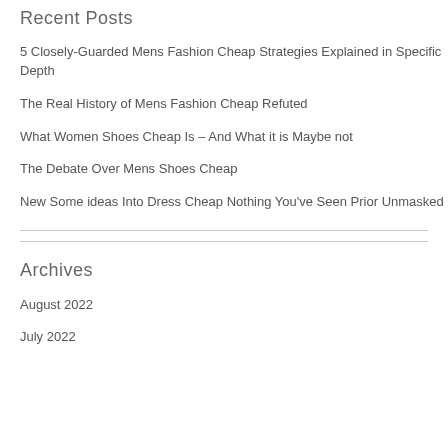Recent Posts
5 Closely-Guarded Mens Fashion Cheap Strategies Explained in Specific Depth
The Real History of Mens Fashion Cheap Refuted
What Women Shoes Cheap Is – And What it is Maybe not
The Debate Over Mens Shoes Cheap
New Some ideas Into Dress Cheap Nothing You've Seen Prior Unmasked
Archives
August 2022
July 2022